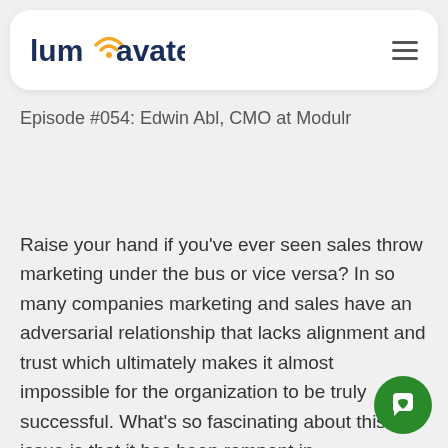lumavate (navigation bar with hamburger menu)
Episode #054: Edwin Abl, CMO at Modulr
Raise your hand if you've ever seen sales throw marketing under the bus or vice versa? In so many companies marketing and sales have an adversarial relationship that lacks alignment and trust which ultimately makes it almost impossible for the organization to be truly successful. What's so fascinating about this issue is that it has been rampant in organizations for decades and few leaders seem to really want to fix it. There is always talk about the